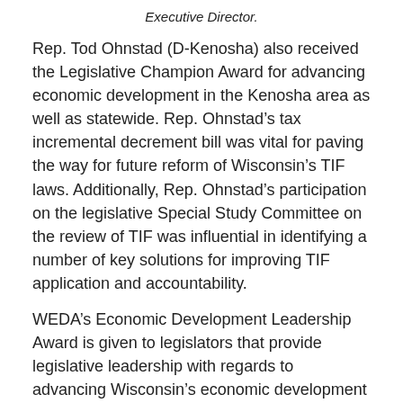Executive Director.
Rep. Tod Ohnstad (D-Kenosha) also received the Legislative Champion Award for advancing economic development in the Kenosha area as well as statewide. Rep. Ohnstad’s tax incremental decrement bill was vital for paving the way for future reform of Wisconsin’s TIF laws. Additionally, Rep. Ohnstad’s participation on the legislative Special Study Committee on the review of TIF was influential in identifying a number of key solutions for improving TIF application and accountability.
WEDA’s Economic Development Leadership Award is given to legislators that provide legislative leadership with regards to advancing Wisconsin’s economic development programs and policies. Former Sen. Tim Cullen received WEDA’s Leadership Award.